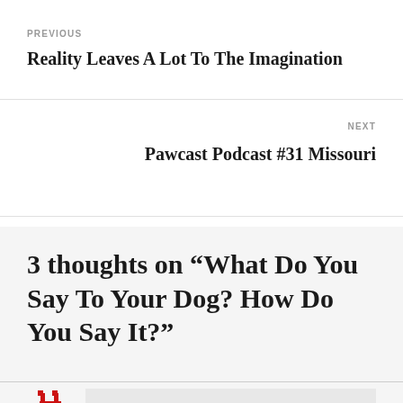PREVIOUS
Reality Leaves A Lot To The Imagination
NEXT
Pawcast Podcast #31 Missouri
3 thoughts on “What Do You Say To Your Dog? How Do You Say It?”
Bon